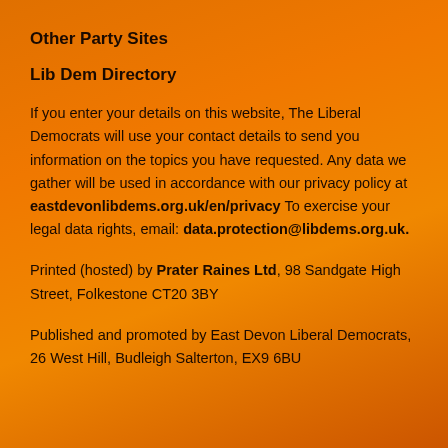Other Party Sites
Lib Dem Directory
If you enter your details on this website, The Liberal Democrats will use your contact details to send you information on the topics you have requested. Any data we gather will be used in accordance with our privacy policy at eastdevonlibdems.org.uk/en/privacy To exercise your legal data rights, email: data.protection@libdems.org.uk.
Printed (hosted) by Prater Raines Ltd, 98 Sandgate High Street, Folkestone CT20 3BY
Published and promoted by East Devon Liberal Democrats, 26 West Hill, Budleigh Salterton, EX9 6BU